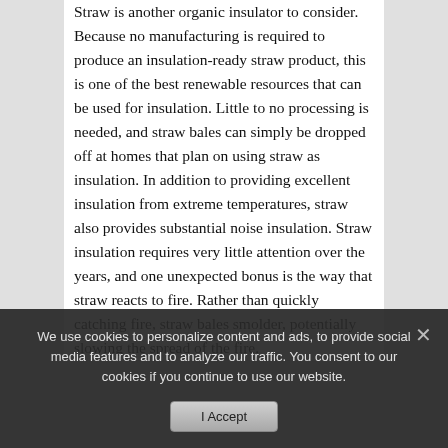Straw is another organic insulator to consider. Because no manufacturing is required to produce an insulation-ready straw product, this is one of the best renewable resources that can be used for insulation. Little to no processing is needed, and straw bales can simply be dropped off at homes that plan on using straw as insulation. In addition to providing excellent insulation from extreme temperatures, straw also provides substantial noise insulation. Straw insulation requires very little attention over the years, and one unexpected bonus is the way that straw reacts to fire. Rather than quickly catching fire, straw bales smolder, potentially slowing the spread of the fire.
We use cookies to personalize content and ads, to provide social media features and to analyze our traffic. You consent to our cookies if you continue to use our website.